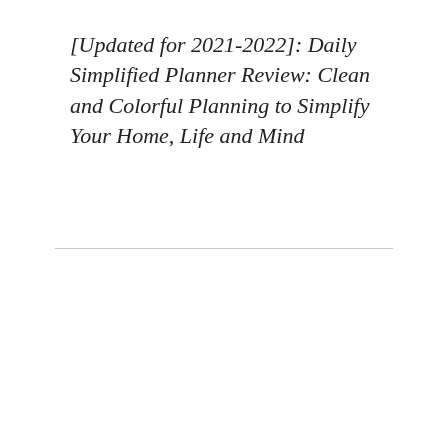[Updated for 2021-2022]: Daily Simplified Planner Review: Clean and Colorful Planning to Simplify Your Home, Life and Mind
6 Comments
Pingback: Gift Guide for Rheumatoid Arthritis